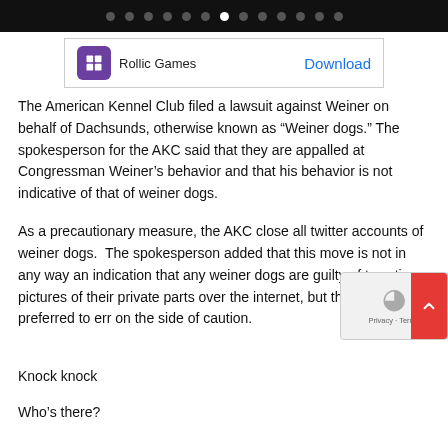[Figure (screenshot): Top navigation bar with dot indicators; one white dot (active) among grey dots on black background]
[Figure (screenshot): Advertisement banner: Rollic Games logo with Download button]
The American Kennel Club filed a lawsuit against Weiner on behalf of Dachsunds, otherwise known as “Weiner dogs.” The spokesperson for the AKC said that they are appalled at Congressman Weiner’s behavior and that his behavior is not indicative of that of weiner dogs.
As a precautionary measure, the AKC close all twitter accounts of weiner dogs.  The spokesperson added that this move is not in any way an indication that any weiner dogs are guilty of tweeting pictures of their private parts over the internet, but the AKC preferred to err on the side of caution.
Knock knock
Who’s there?